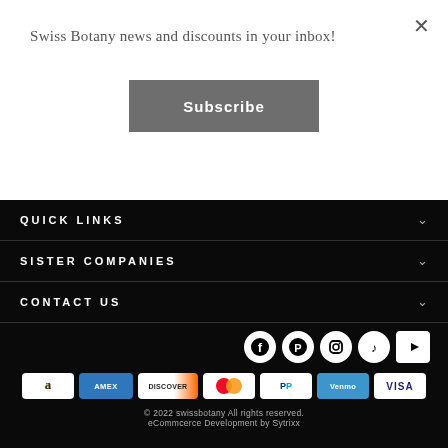×
Swiss Botany news and discounts in your inbox!
Subscribe
QUICK LINKS
SISTER COMPANIES
CONTACT US
[Figure (other): Social media icons: Facebook, Pinterest, Instagram, TikTok, YouTube]
[Figure (other): Payment method icons: Amazon, Amex, Discover, Mastercard, PayPal, Venmo, Visa]
© 2022 swissbotany All rights reserved. eCommcerce Development by Sytrixx